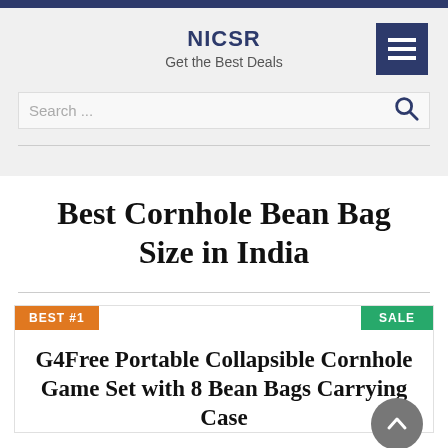NICSR – Get the Best Deals
Best Cornhole Bean Bag Size in India
BEST #1
SALE
G4Free Portable Collapsible Cornhole Game Set with 8 Bean Bags Carrying Case